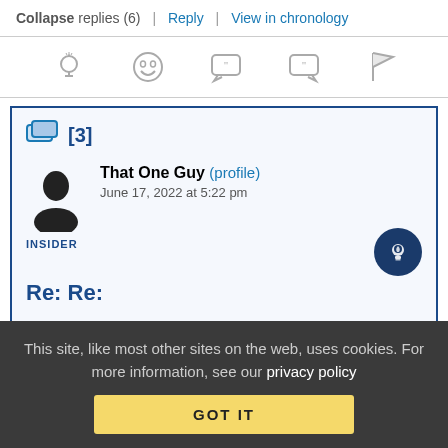Collapse replies (6) | Reply | View in chronology
[Figure (other): Row of 5 reaction/action icons: lightbulb, laughing emoji, quote bubble left, quote bubble right, flag]
[3]
That One Guy (profile)   June 17, 2022 at 5:22 pm
INSIDER
[Figure (other): Dark blue circular button with white lightbulb icon]
Re: Re:
This site, like most other sites on the web, uses cookies. For more information, see our privacy policy
GOT IT